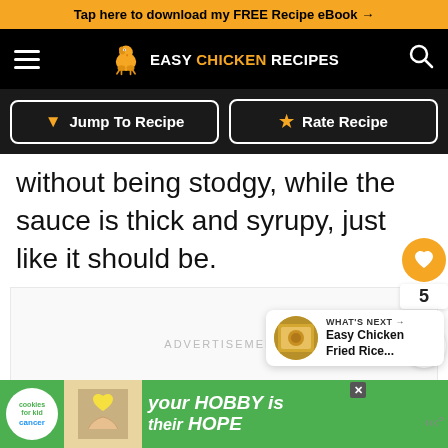Tap here to download my FREE Recipe eBook →
[Figure (logo): Easy Chicken Recipes logo with chicken icon on black nav bar, hamburger menu left, search icon right]
Jump To Recipe
Rate Recipe
without being stodgy, while the sauce is thick and syrupy, just like it should be.
[Figure (other): Advertisement placeholder area with ADVERTISEMENT label]
[Figure (other): What's Next card showing Easy Chicken Fried Rice...]
[Figure (other): Bottom banner advertisement: cookies for kid cancer - your HOBBY is their HOPE]